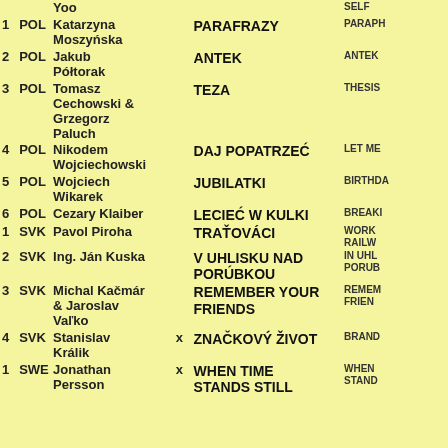| # | Country | Name | X | Title | English Title |
| --- | --- | --- | --- | --- | --- |
|  |  | Yoo |  |  | SELF |
| 1 | POL | Katarzyna Moszyńska |  | PARAFRAZY | PARAPH... |
| 2 | POL | Jakub Półtorak |  | ANTEK | ANTEK |
| 3 | POL | Tomasz Cechowski & Grzegorz Paluch |  | TEZA | THESIS |
| 4 | POL | Nikodem Wojciechowski |  | DAJ POPATRZEĆ | LET ME |
| 5 | POL | Wojciech Wikarek |  | JUBILATKI | BIRTHDA... |
| 6 | POL | Cezary Klaiber |  | LECIEĆ W KULKI | BREAKI... |
| 1 | SVK | Pavol Piroha |  | TRAŤOVÁCI | WORK... RAILW... |
| 2 | SVK | Ing. Ján Kuska |  | V UHLISKU NAD PORÚBKOU | IN UHL... PORUB... |
| 3 | SVK | Michal Kačmár & Jaroslav Vaľko |  | REMEMBER YOUR FRIENDS | REMEM... FRIEN... |
| 4 | SVK | Stanislav Králik | x | ZNAČKOVÝ ŽIVOT | BRAND... |
| 1 | SWE | Jonathan Persson | x | WHEN TIME STANDS STILL | WHEN... STAND... |